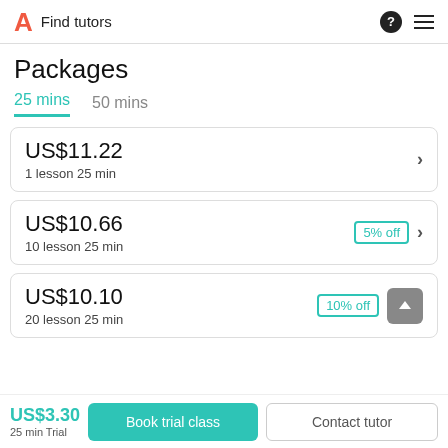A Find tutors
Packages
25 mins   50 mins
US$11.22
1 lesson 25 min
US$10.66
10 lesson 25 min
5% off
US$10.10
20 lesson 25 min
10% off
US$3.30
25 min Trial
Book trial class
Contact tutor